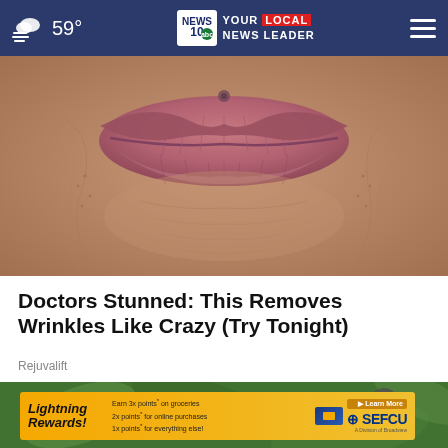59° NEWS 10 YOUR LOCAL NEWS LEADER
[Figure (photo): Close-up macro photo of elderly person's lips/mouth area showing wrinkles and skin texture]
Doctors Stunned: This Removes Wrinkles Like Crazy (Try Tonight)
Rejuvalift
[Figure (photo): Green leafy plant background with advertisement overlay for SEFCU Lightning Rewards credit card]
Lightning Rewards! Earn 3x points* on groceries 2x points* for online purchases 1x points* for everything else! Learn More SEFCU A Division of Broadview